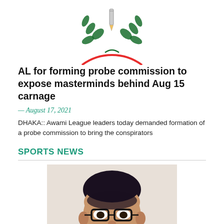[Figure (logo): Circular logo with green laurel wreath and red circle border, partially visible at top]
AL for forming probe commission to expose masterminds behind Aug 15 carnage
— August 17, 2021
DHAKA:: Awami League leaders today demanded formation of a probe commission to bring the conspirators
SPORTS NEWS
[Figure (photo): Portrait photo of a man with glasses and short dark hair, smiling slightly]